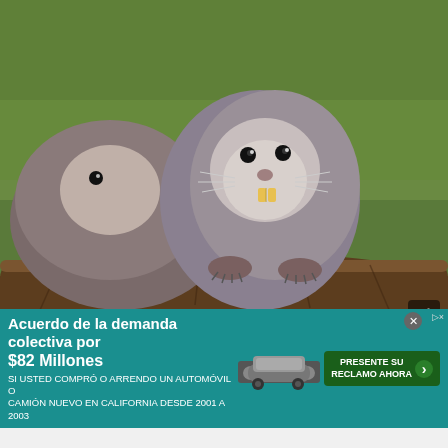[Figure (photo): Two nutria (coypu) rodents with large orange teeth sitting on a log, with green grass in the background. Social media post image.]
thingsihavedrawn
Report
Final score:169
Add a comment...
POST
SweetCrescentMoon  2 years ago
Majestic just like me
Acuerdo de la demanda colectiva por $82 Millones SI USTED COMPRÓ O ARRENDO UN AUTOMÓVIL O CAMIÓN NUEVO EN CALIFORNIA DESDE 2001 A 2003